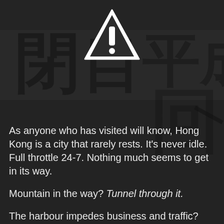[Figure (illustration): Dark textured background with Chinese/Japanese calligraphy characters painted or inscribed on a stone or concrete wall. A white warning triangle with exclamation mark is overlaid at the top center.]
As anyone who has visited will know, Hong Kong is a city that rarely rests. It's never idle. Full throttle 24-7. Nothing much seems to get in its way.
Mountain in the way? Tunnel through it.
The harbour impedes business and traffic? Tunnel under it. Again. And again.
Need more land? Make some.
Narrow, hillside block? No worries. Up we go...